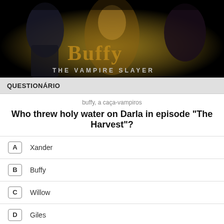[Figure (photo): Buffy the Vampire Slayer promotional banner with cast members and show logo text on dark background]
QUESTIONÁRIO
buffy, a caça-vampiros
Who threw holy water on Darla in episode "The Harvest"?
A  Xander
B  Buffy
C  Willow
D  Giles
skip question
[Figure (photo): Strip of show/cast imagery between quiz and clubs sections]
CLUBES RELACIONADOS
[Figure (photo): Three thumbnail images of related clubs at the bottom]